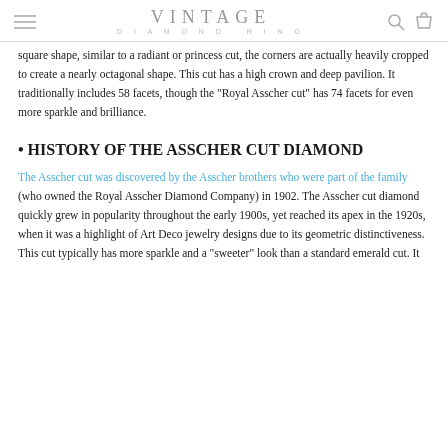VINTAGE DIAMOND RING
square shape, similar to a radiant or princess cut, the corners are actually heavily cropped to create a nearly octagonal shape. This cut has a high crown and deep pavilion. It traditionally includes 58 facets, though the "Royal Asscher cut" has 74 facets for even more sparkle and brilliance.
• HISTORY OF THE ASSCHER CUT DIAMOND
The Asscher cut was discovered by the Asscher brothers who were part of the family (who owned the Royal Asscher Diamond Company) in 1902. The Asscher cut diamond quickly grew in popularity throughout the early 1900s, yet reached its apex in the 1920s, when it was a highlight of Art Deco jewelry designs due to its geometric distinctiveness. This cut typically has more sparkle and a "sweeter" look than a standard emerald cut. It produces a "hall of mirrors" effect in color (only the d...